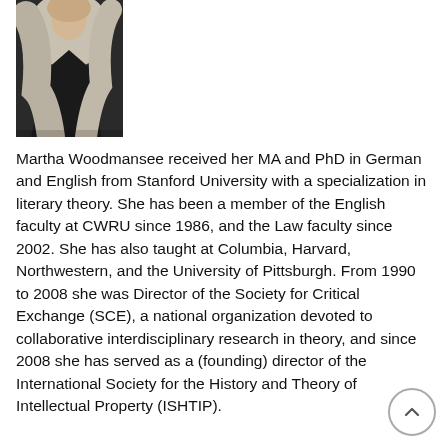[Figure (photo): Portrait photo of Martha Woodmansee, cropped, showing torso and lower face, wearing a dark top with a light scarf.]
Martha Woodmansee received her MA and PhD in German and English from Stanford University with a specialization in literary theory. She has been a member of the English faculty at CWRU since 1986, and the Law faculty since 2002. She has also taught at Columbia, Harvard, Northwestern, and the University of Pittsburgh. From 1990 to 2008 she was Director of the Society for Critical Exchange (SCE), a national organization devoted to collaborative interdisciplinary research in theory, and since 2008 she has served as a (founding) director of the International Society for the History and Theory of Intellectual Property (ISHTIP).